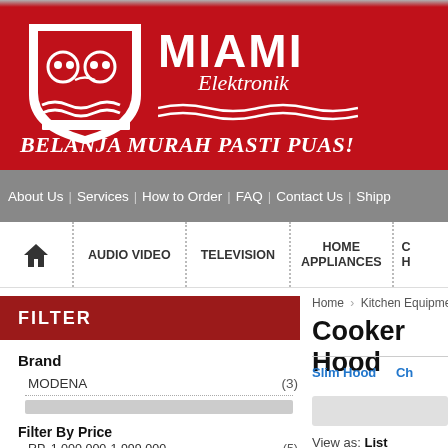[Figure (logo): Miami Elektronik logo with shield emblem and text 'BELANJA MURAH PASTI PUAS!' on red background]
About Us | Services | How to Order | FAQ | Contact Us | Shipp...
HOME | AUDIO VIDEO | TELEVISION | HOME APPLIANCES | C...
FILTER
Brand
MODENA (3)
Filter By Price
RP. 1.000.000-1.999.000 (5)
Home > Kitchen Equipments > Cooker...
Cooker Hood
Slim Hood   Ch...
View as:  List